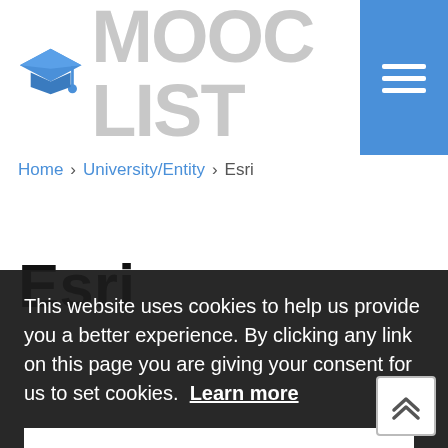MOOC LIST
Home > University/Entity > Esri
Esri
This website uses cookies to help us provide you a better experience. By clicking any link on this page you are giving your consent for us to set cookies. Learn more
Got it!